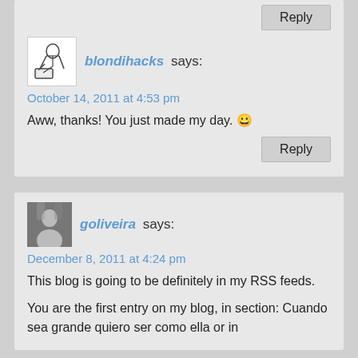Reply
blondihacks says:
October 14, 2011 at 4:53 pm
Aww, thanks! You just made my day. 😀
Reply
goliveira says:
December 8, 2011 at 4:24 pm
This blog is going to be definitely in my RSS feeds.
You are the first entry on my blog, in section: Cuando sea grande quiero ser como ella or in